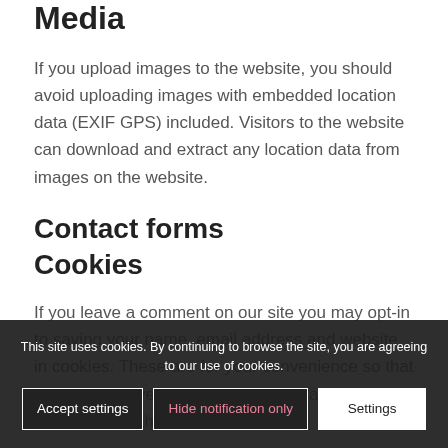Media
If you upload images to the website, you should avoid uploading images with embedded location data (EXIF GPS) included. Visitors to the website can download and extract any location data from images on the website.
Contact forms
Cookies
If you leave a comment on our site you may opt-in to saving your name, email address and website in cookies. These are for your convenience so that you do not have to fill in your details again when you leave another comment.
This site uses cookies. By continuing to browse the site, you are agreeing to our use of cookies.